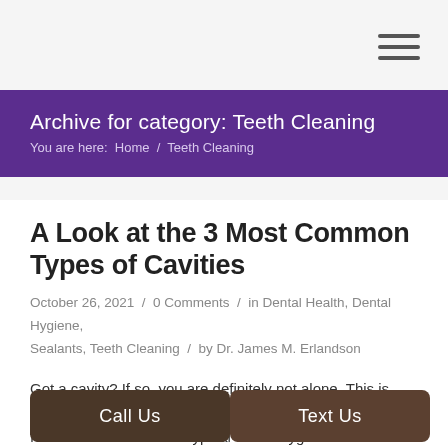Archive for category: Teeth Cleaning — You are here: Home / Teeth Cleaning
A Look at the 3 Most Common Types of Cavities
October 26, 2021 / 0 Comments / in Dental Health, Dental Hygiene, Sealants, Teeth Cleaning / by Dr. James M. Erlandson
Got a cavity? If so, you are definitely not alone. This is one of the biggest reasons people have to visit a dentist for treatment outside of typical dental hygiene visits and checkups. You may not be aware, you may no... ...e ac... ...types of